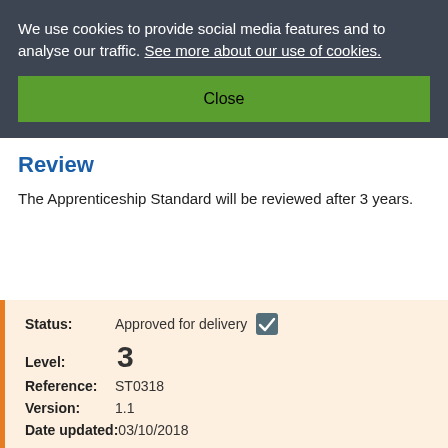We use cookies to provide social media features and to analyse our traffic. See more about our use of cookies.
Close
Review
The Apprenticeship Standard will be reviewed after 3 years.
| Status: | Approved for delivery |
| Level: | 3 |
| Reference: | ST0318 |
| Version: | 1.1 |
| Date updated: | 03/10/2018 |